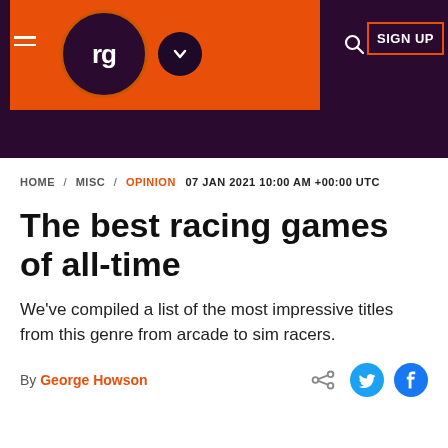GamesRadar+ navigation header with logo, search and sign up
HOME / MISC / OPINION  07 JAN 2021 10:00 AM +00:00 UTC
The best racing games of all-time
We've compiled a list of the most impressive titles from this genre from arcade to sim racers.
By George Howson